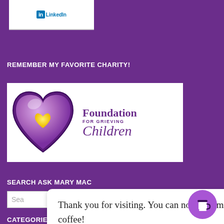[Figure (logo): LinkedIn logo button in white box at top]
REMEMBER MY FAVORITE CHARITY!
[Figure (logo): Foundation for Grieving Children logo with purple heart and yellow heart inside, on white background]
SEARCH ASK MARY MAC
Thank you for visiting. You can now buy me a coffee!
CATEGORIES